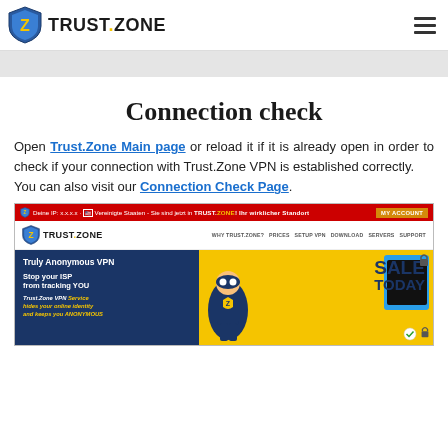TRUST.ZONE — Navigation header with logo and hamburger menu
[Figure (screenshot): Gray banner below the navigation header]
Connection check
Open Trust.Zone Main page or reload it if it is already open in order to check if your connection with Trust.Zone VPN is established correctly. You can also visit our Connection Check Page.
[Figure (screenshot): Screenshot of Trust.Zone website showing: red info bar with 'Deine IP: x.x.x.x · Vereinigte Staaten - Sie sind jetzt in TRUST.ZONE! Ihr wirklicher Standort' and MY ACCOUNT button; navigation bar with logo and menu links WHY TRUST.ZONE? PRICES SETUP VPN DOWNLOAD SERVERS SUPPORT; hero banner with dark blue left section showing 'Truly Anonymous VPN', 'Stop your ISP from tracking YOU', 'Trust.Zone VPN Service hides your online identity and keeps you ANONYMOUS' and yellow right section with 'SALE TODAY' text and superhero figure]